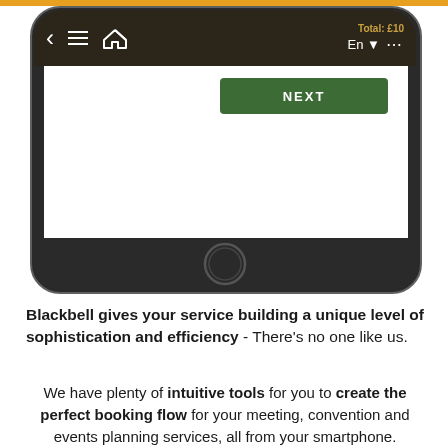[Figure (screenshot): Smartphone mockup showing a mobile app interface with a dark navigation bar containing back arrow, hamburger menu, home icon, 'Total: £10' label, 'En' language selector with dropdown, and ellipsis menu. The screen shows a green 'NEXT' button. Below the screen is the phone's home button area.]
Blackbell gives your service building a unique level of sophistication and efficiency - There's no one like us.
We have plenty of intuitive tools for you to create the perfect booking flow for your meeting, convention and events planning services, all from your smartphone.